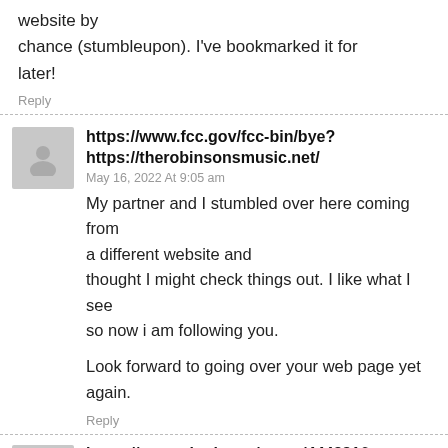website by chance (stumbleupon). I've bookmarked it for later!
Reply
https://www.fcc.gov/fcc-bin/bye?https://therobinsonsmusic.net/
May 16, 2022 At 9:05 am
My partner and I stumbled over here coming from a different website and thought I might check things out. I like what I see so now i am following you.

Look forward to going over your web page yet again.
Reply
https://www.vingle.net/posts/4443816